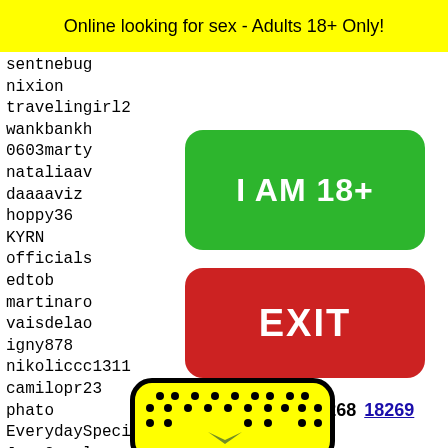Online looking for sex - Adults 18+ Only!
sentnebug
nixion
travelingirl2
wankbankh
0603marty
nataliaav
daaaaviz
hoppy36
KYRN
officials
edtob
martinaro
vaisdelao
igny878
nikoliccc1311
camilopr23
phato
EverydaySpecial
Jman2real
wetfun2100
xellab
doggys
jennyf
makayl
muahh5
marcol
[Figure (other): Green button with text I AM 18+]
[Figure (other): Red button with text EXIT]
18266 18267 18268 18269 18270
[Figure (other): Yellow Snapchat ghost logo image at bottom]